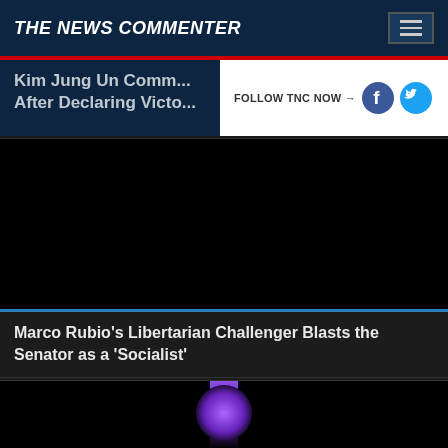THE NEWS COMMENTER
Kim Jung Un Comm... After Declaring Victory Over Covid
FOLLOW TNC NOW →
[Figure (photo): Black video thumbnail placeholder]
Marco Rubio's Libertarian Challenger Blasts the Senator as a 'Socialist'
[Figure (photo): Partially visible image with purple glow effect at bottom of page]